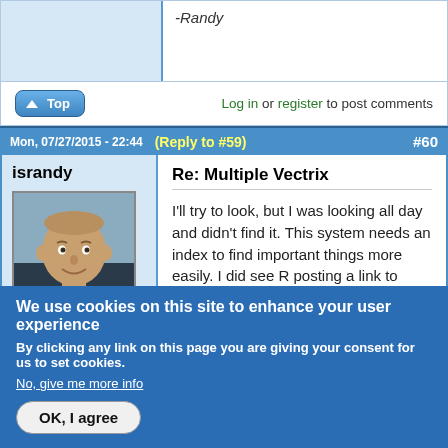-Randy
Log in or register to post comments
Mon, 07/27/2015 - 22:44 (Reply to #59) #60
israelrandy
[Figure (photo): Profile photo of user israelrandy - a man with a bald head smiling]
Offline
Last seen: 21 hours 18 min ago
Re: Multiple Vectrix
I'll try to look, but I was looking all day and didn't find it. This system needs an index to find important things more easily. I did see R posting a link to VectrixParts but that is the Lithium firmware they have.
I was on David's site and posted the request to get the software, but haven't heard. I also
We use cookies on this site to enhance your user experience
By clicking any link on this page you are giving your consent for us to set cookies.
No, give me more info
OK, I agree